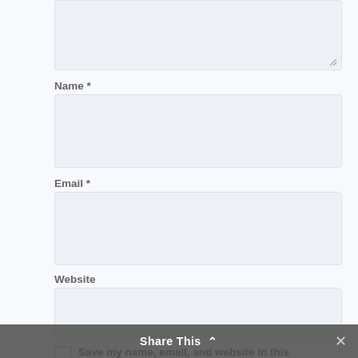[Figure (screenshot): Top portion of a comment/form textarea input box with light blue-grey background, partially visible at top of page]
Name *
[Figure (screenshot): Name input field — empty text box with light blue-grey background]
Email *
[Figure (screenshot): Email input field — empty text box with light blue-grey background]
Website
[Figure (screenshot): Website input field — empty text box with light blue-grey background]
Save my name, email, and website in this browser for the next time I comment.
Share This ×